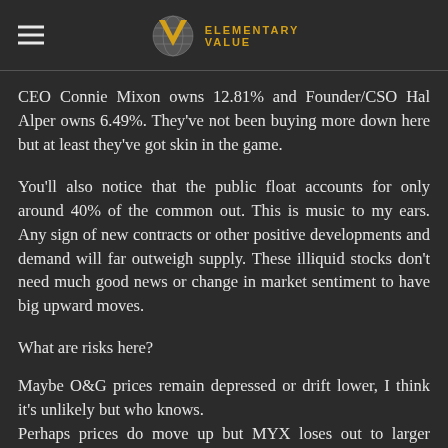ELEMENTARY VALUE
CEO Connie Mixon owns 12.81% and Founder/CSO Hal Alper owns 6.49%. They've not been buying more down here but at least they've got skin in the game.
You'll also notice that the public float accounts for only around 40% of the common out. This is music to my ears. Any sign of new contracts or other positive developments and demand will far outweigh supply. These illiquid stocks don't need much good news or change in market sentiment to have big upward moves.
What are risks here?
Maybe O&G prices remain depressed or drift lower, I think it's unlikely but who knows.
Perhaps prices do move up but MYX loses out to larger competitors with competing products. Maybe they do